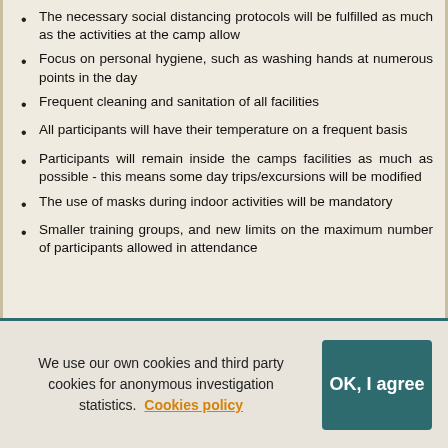The necessary social distancing protocols will be fulfilled as much as the activities at the camp allow
Focus on personal hygiene, such as washing hands at numerous points in the day
Frequent cleaning and sanitation of all facilities
All participants will have their temperature on a frequent basis
Participants will remain inside the camps facilities as much as possible - this means some day trips/excursions will be modified
The use of masks during indoor activities will be mandatory
Smaller training groups, and new limits on the maximum number of participants allowed in attendance
We use our own cookies and third party cookies for anonymous investigation statistics. Cookies policy
OK, I agree